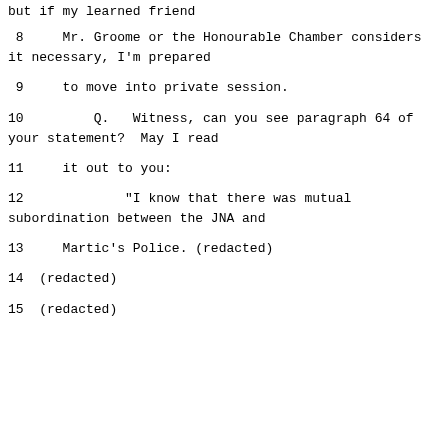but if my learned friend
8     Mr. Groome or the Honourable Chamber considers it necessary, I'm prepared
9     to move into private session.
10         Q.   Witness, can you see paragraph 64 of your statement?  May I read
11     it out to you:
12             "I know that there was mutual subordination between the JNA and
13     Martic's Police. (redacted)
14  (redacted)
15  (redacted)